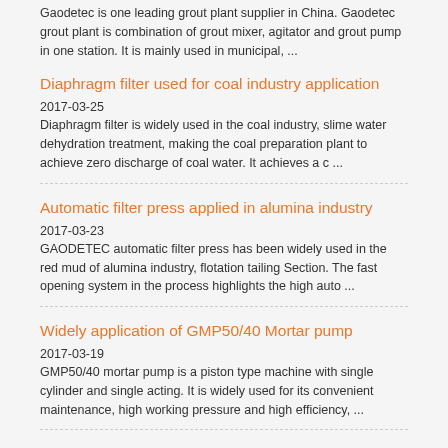Gaodetec is one leading grout plant supplier in China. Gaodetec grout plant is combination of grout mixer, agitator and grout pump in one station. It is mainly used in municipal, ...
Diaphragm filter used for coal industry application
2017-03-25
Diaphragm filter is widely used in the coal industry, slime water dehydration treatment, making the coal preparation plant to achieve zero discharge of coal water. It achieves a c ...
Automatic filter press applied in alumina industry
2017-03-23
GAODETEC automatic filter press has been widely used in the red mud of alumina industry, flotation tailing Section. The fast opening system in the process highlights the high auto ...
Widely application of GMP50/40 Mortar pump
2017-03-19
GMP50/40 mortar pump is a piston type machine with single cylinder and single acting. It is widely used for its convenient maintenance, high working pressure and high efficiency, ...
DTH drilling rig for sale